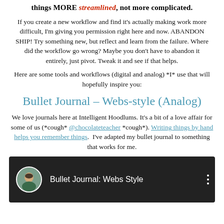things MORE streamlined, not more complicated.
If you create a new workflow and find it's actually making work more difficult, I'm giving you permission right here and now. ABANDON SHIP! Try something new, but reflect and learn from the failure. Where did the workflow go wrong? Maybe you don't have to abandon it entirely, just pivot. Tweak it and see if that helps.
Here are some tools and workflows (digital and analog) *I* use that will hopefully inspire you:
Bullet Journal – Webs-style (Analog)
We love journals here at Intelligent Hoodlums. It's a bit of a love affair for some of us (*cough* @chocolateteacher *cough*). Writing things by hand helps you remember things.  I've adapted my bullet journal to something that works for me.
[Figure (screenshot): YouTube video thumbnail showing 'Bullet Journal: Webs Style' with a circular avatar photo of a woman on a dark background]